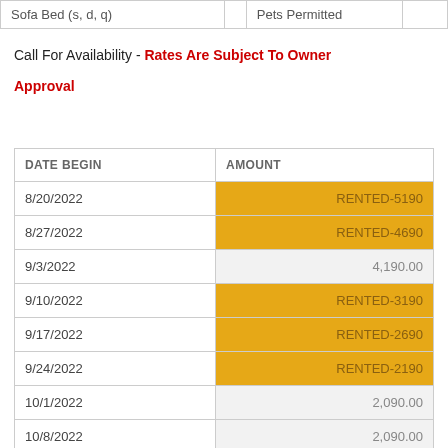| Sofa Bed (s, d, q) |  | Pets Permitted |  |
| --- | --- | --- | --- |
Call For Availability - Rates Are Subject To Owner Approval
| DATE BEGIN | AMOUNT |
| --- | --- |
| 8/20/2022 | RENTED-5190 |
| 8/27/2022 | RENTED-4690 |
| 9/3/2022 | 4,190.00 |
| 9/10/2022 | RENTED-3190 |
| 9/17/2022 | RENTED-2690 |
| 9/24/2022 | RENTED-2190 |
| 10/1/2022 | 2,090.00 |
| 10/8/2022 | 2,090.00 |
| 10/15/2022 | 2,090.00 |